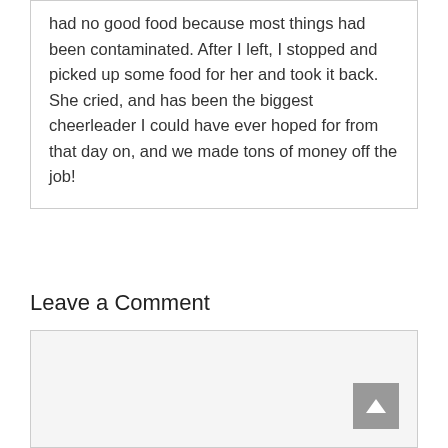had no good food because most things had been contaminated. After I left, I stopped and picked up some food for her and took it back. She cried, and has been the biggest cheerleader I could have ever hoped for from that day on, and we made tons of money off the job!
Leave a Comment